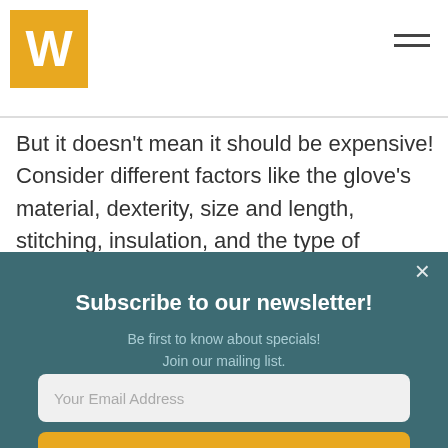W [logo] | hamburger menu
But it doesn't mean it should be expensive! Consider different factors like the glove's material, dexterity, size and length, stitching, insulation, and the type of welding project you'll be
Subscribe to our newsletter!
Be first to know about specials!
Join our mailing list.
Your Email Address
Subscribe